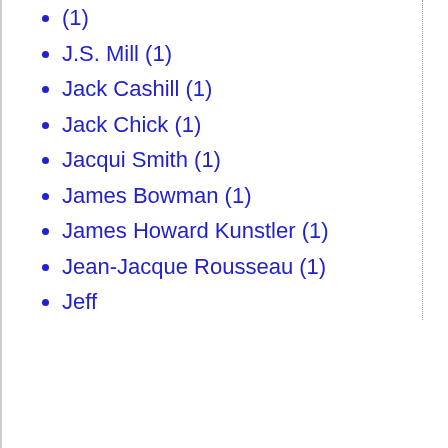(1)
J.S. Mill (1)
Jack Cashill (1)
Jack Chick (1)
Jacqui Smith (1)
James Bowman (1)
James Howard Kunstler (1)
Jean-Jacque Rousseau (1)
Jeff